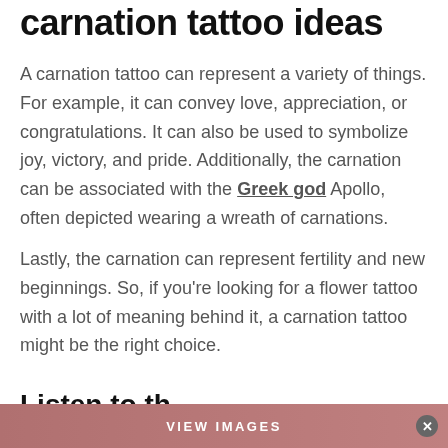carnation tattoo ideas
A carnation tattoo can represent a variety of things. For example, it can convey love, appreciation, or congratulations. It can also be used to symbolize joy, victory, and pride. Additionally, the carnation can be associated with the Greek god Apollo, often depicted wearing a wreath of carnations.
Lastly, the carnation can represent fertility and new beginnings. So, if you're looking for a flower tattoo with a lot of meaning behind it, a carnation tattoo might be the right choice.
Listen to th...
[Figure (other): VIEW IMAGES button overlay with close button]